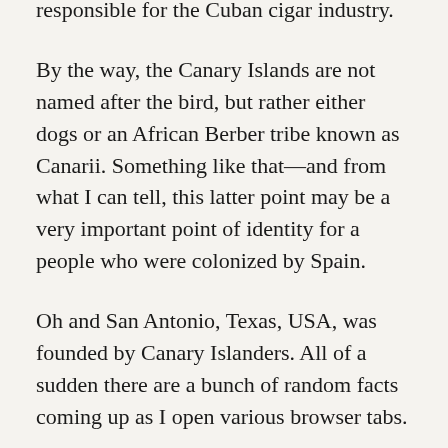responsible for the Cuban cigar industry.
By the way, the Canary Islands are not named after the bird, but rather either dogs or an African Berber tribe known as Canarii. Something like that—and from what I can tell, this latter point may be a very important point of identity for a people who were colonized by Spain.
Oh and San Antonio, Texas, USA, was founded by Canary Islanders. All of a sudden there are a bunch of random facts coming up as I open various browser tabs.
I thought I'd look up a book on the Canary Islands so I headed over to Gutenberg.org and found book number 66355, which is to say The Canary Islands by Florence Du Cane, which starts a little something like this.